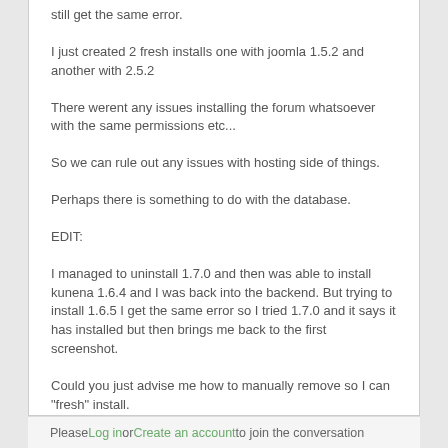still get the same error.
I just created 2 fresh installs one with joomla 1.5.2 and another with 2.5.2
There werent any issues installing the forum whatsoever with the same permissions etc...
So we can rule out any issues with hosting side of things.
Perhaps there is something to do with the database.
EDIT:
I managed to uninstall 1.7.0 and then was able to install kunena 1.6.4 and I was back into the backend. But trying to install 1.6.5 I get the same error so I tried 1.7.0 and it says it has installed but then brings me back to the first screenshot.
Could you just advise me how to manually remove so I can "fresh" install.
Please Log in or Create an account to join the conversation